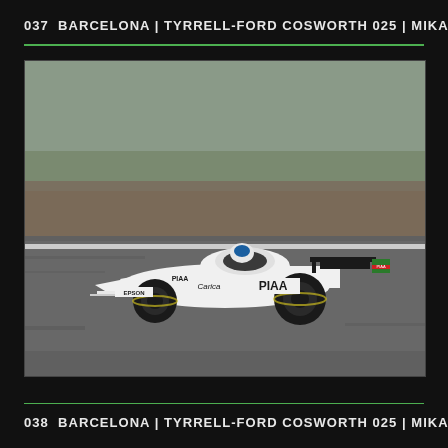037  BARCELONA | TYRRELL-FORD COSWORTH 025 | MIKA SALO
[Figure (photo): A white Tyrrell-Ford Cosworth 025 Formula 1 car with PIAA, Epson, and Carica sponsorship livery, driven by Mika Salo, racing on a circuit in Barcelona. The car is photographed from the side, moving along the track with a grass and dirt embankment visible in the background.]
038  BARCELONA | TYRRELL-FORD COSWORTH 025 | MIKA SALO